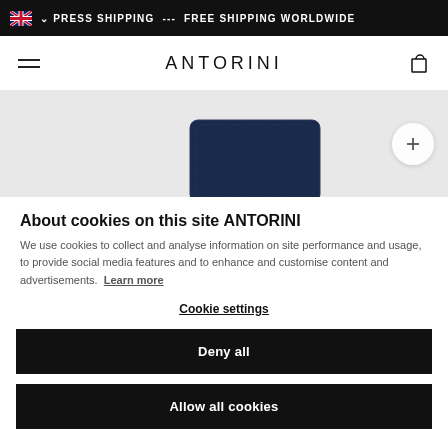🇬🇧 ∨PRESS SHIPPING --- FREE SHIPPING WORLDWIDE
[Figure (screenshot): ANTORINI website navigation bar with hamburger menu, brand name ANTORINI, and shopping bag icon]
[Figure (photo): Partial view of a dark navy blue leather wallet on a light grey background with a circular plus button]
About cookies on this site ANTORINI
We use cookies to collect and analyse information on site performance and usage, to provide social media features and to enhance and customise content and advertisements. Learn more
Cookie settings
Deny all
Allow all cookies